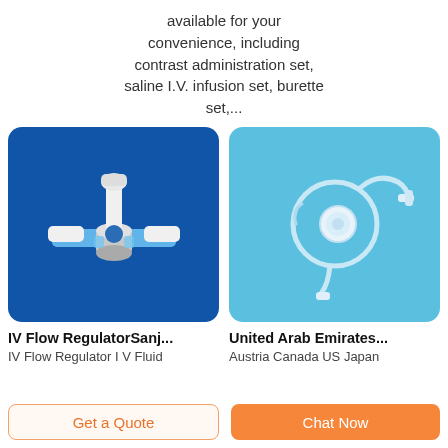available for your convenience, including contrast administration set, saline I.V. infusion set, burette set,...
[Figure (photo): IV Flow Regulator product on dark blue background]
[Figure (photo): IV infusion set tubing with connector on light blue background]
IV Flow RegulatorSanj...
IV Flow Regulator I V Fluid
United Arab Emirates...
Austria Canada US Japan